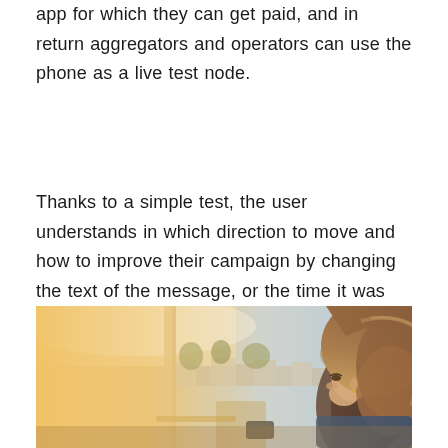app for which they can get paid, and in return aggregators and operators can use the phone as a live test node.
Thanks to a simple test, the user understands in which direction to move and how to improve their campaign by changing the text of the message, or the time it was sent.
[Figure (photo): A young woman with long brown hair looking down at a phone, viewed from the side, with a warm sunny outdoor background showing buildings and trees.]